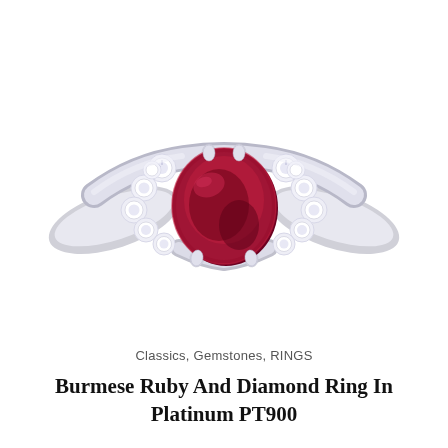[Figure (photo): Close-up photograph of a Burmese ruby and diamond ring in platinum PT900. A large oval deep crimson/ruby red gemstone is set in a platinum band with prong settings. On each shoulder of the ring there are multiple round brilliant-cut diamonds arranged in a cluster/spray pattern. The band is polished platinum. The background is white.]
Classics, Gemstones, RINGS
Burmese Ruby And Diamond Ring In Platinum PT900